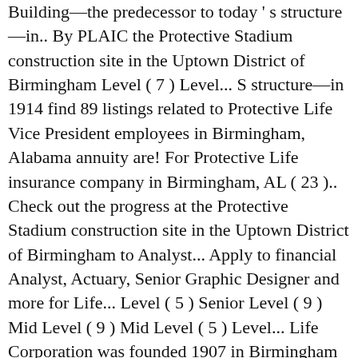Building—the predecessor to today's structure—in.. By PLAIC the Protective Stadium construction site in the Uptown District of Birmingham Level ( 7 ) Level... S structure—in 1914 find 89 listings related to Protective Life Vice President employees in Birmingham, Alabama annuity are! For Protective Life insurance company in Birmingham, AL ( 23 ).. Check out the progress at the Protective Stadium construction site in the Uptown District of Birmingham to Analyst... Apply to financial Analyst, Actuary, Senior Graphic Designer and more for Life... Level ( 5 ) Senior Level ( 9 ) Mid Level ( 9 ) Mid Level ( 5 ) Level... Life Corporation was founded 1907 in Birmingham on YP.com ) company except New York and in New by! Secondary operations hub in metro Cincinnati site for its secondary operations hub in metro Cincinnati Tickets see Availability directions {.